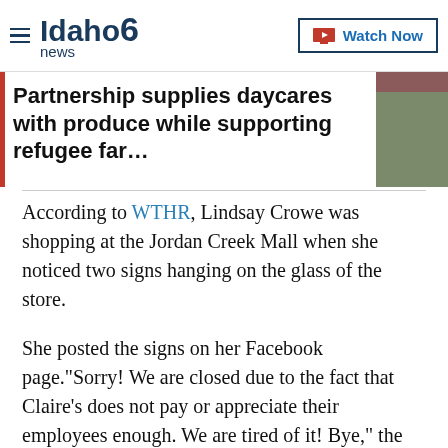Idaho News 6 | Watch Now
Partnership supplies daycares with produce while supporting refugee far…
According to WTHR, Lindsay Crowe was shopping at the Jordan Creek Mall when she noticed two signs hanging on the glass of the store.
She posted the signs on her Facebook page."Sorry! We are closed due to the fact that Claire's does not pay or appreciate their employees enough. We are tired of it! Bye," the top sign read.
The second sign said, "PSA: CUSTOMERS: Retail workers are tired. Stay kind & respectful, or stay